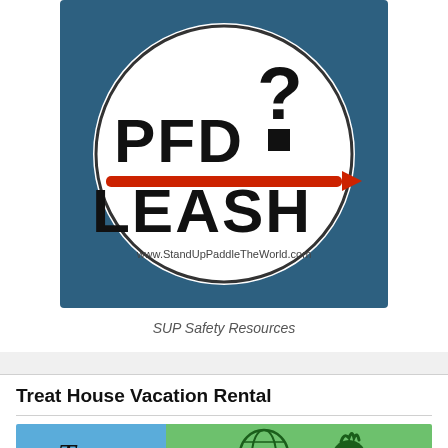[Figure (logo): Circular logo on a steel blue background showing 'PFD ? LEASH' text with a red horizontal line (paddle board) dividing the two words, and a question mark above. Website www.StandUpPaddleTheWorld.com shown at bottom of circle.]
SUP Safety Resources
Treat House Vacation Rental
[Figure (logo): Two-panel image: left panel is blue with cursive 'Treat' text; right panel is green with a globe icon and a pineapple or fruit icon.]